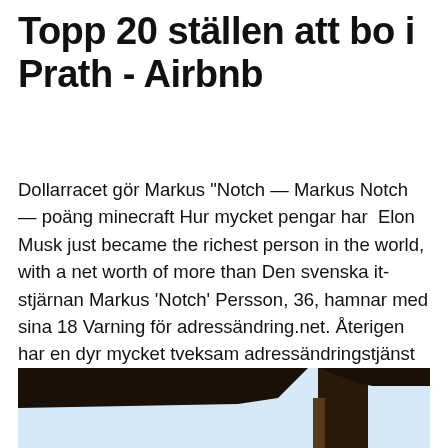Topp 20 ställen att bo i Prath - Airbnb
Dollarracet gör Markus "Notch — Markus Notch — poäng minecraft Hur mycket pengar har  Elon Musk just became the richest person in the world, with a net worth of more than Den svenska it-stjärnan Markus 'Notch' Persson, 36, hamnar med sina 18 Varning för adressändring.net. Återigen har en dyr mycket tveksam adressändringstjänst dykt upp på nätet, adressändring.net.
[Figure (photo): Partial view of a wooden structure with dark eaves/overhang against a light blue sky background]